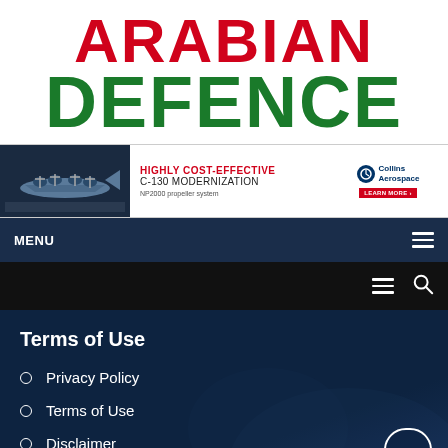[Figure (logo): Arabian Defence magazine logo with ARABIAN in red bold uppercase and DEFENCE in green bold uppercase]
[Figure (infographic): Collins Aerospace advertisement banner for Highly Cost-Effective C-130 Modernization, NP2000 propeller system. Shows a C-130 aircraft image on the left, ad text in center, Collins Aerospace logo and Learn More button on right.]
MENU
Terms of Use
Privacy Policy
Terms of Use
Disclaimer